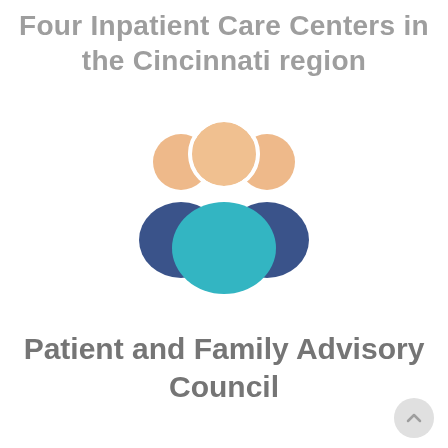Four Inpatient Care Centers in the Cincinnati region
[Figure (illustration): Icon of three people (group/team) with peach-colored heads and blue/teal bodies, representing a patient and family advisory council]
Patient and Family Advisory Council